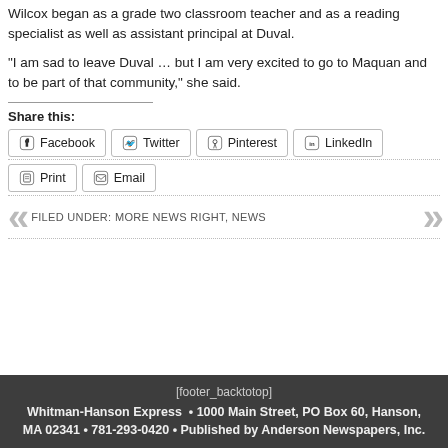Wilcox began as a grade two classroom teacher and as a reading specialist as well as assistant principal at Duval.
“I am sad to leave Duval … but I am very excited to go to Maquan and to be part of that community,” she said.
Share this:
Facebook  Twitter  Pinterest  LinkedIn  Print  Email
FILED UNDER: MORE NEWS RIGHT, NEWS
[footer_backtotop]
Whitman-Hanson Express • 1000 Main Street, PO Box 60, Hanson, MA 02341 • 781-293-0420 • Published by Anderson Newspapers, Inc.